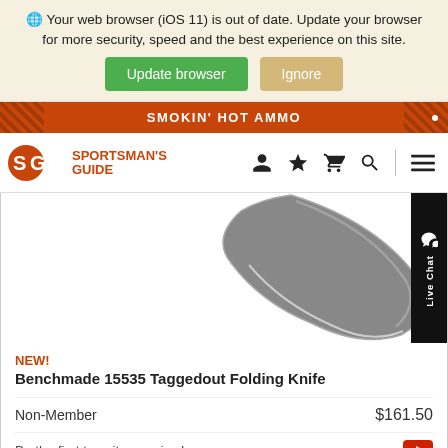Your web browser (iOS 11) is out of date. Update your browser for more security, speed and the best experience on this site. Update browser / Ignore
SMOKIN' HOT AMMO
[Figure (logo): Sportsman's Guide logo with SG icon and navigation icons (person, star, cart, search, menu)]
[Figure (photo): Close-up product image of a knife blade (Benchmade 15535 Taggedout Folding Knife), showing the grey blade tip curving down]
NEW!
Benchmade 15535 Taggedout Folding Knife
Non-Member $161.50
Be the first to write a review!